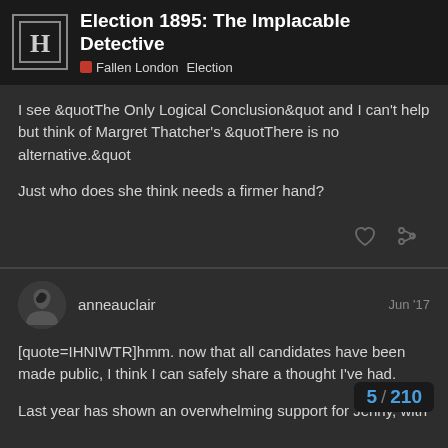Election 1895: The Implacable Detective — Fallen London | Election
I see &quotThe Only Logical Conclusion&quot and I can't help but think of Margret Thatcher's &quotThere is no alternative.&quot

Just who does she think needs a firmer hand?
anneauclair — Jun '17
[quote=IHNIWTR]hmm. now that all candidates have been made public, I think I can safely share a thought I've had.

Last year has shown an overwhelming support for Jenny, with the Contrarian a distant second and the Bishop trailing far behind. This year we've got another champ... of the ... the other two candidates very closely asso... seen as powerful elites, be they societal el...
5 / 210